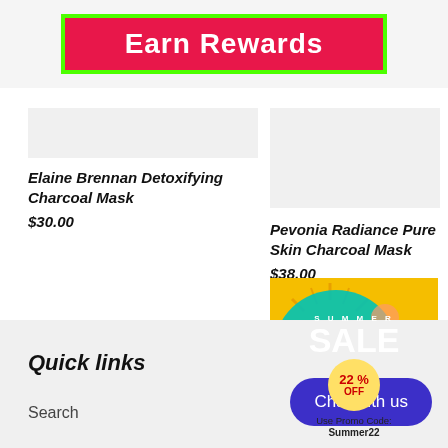[Figure (other): Earn Rewards button with pink/red background and bright green border]
Elaine Brennan Detoxifying Charcoal Mask
$30.00
[Figure (other): Product image placeholder for Pevonia Radiance Pure Skin Charcoal Mask]
Pevonia Radiance Pure Skin Charcoal Mask
$38.00
[Figure (infographic): Summer Sale 22% OFF advertisement, yellow background, Use Promo Code: Summer22]
Quick links
Search
[Figure (other): Chat with us button, blue rounded rectangle]